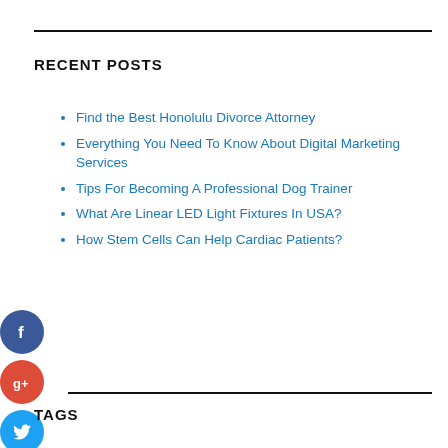RECENT POSTS
Find the Best Honolulu Divorce Attorney
Everything You Need To Know About Digital Marketing Services
Tips For Becoming A Professional Dog Trainer
What Are Linear LED Light Fixtures In USA?
How Stem Cells Can Help Cardiac Patients?
TAGS